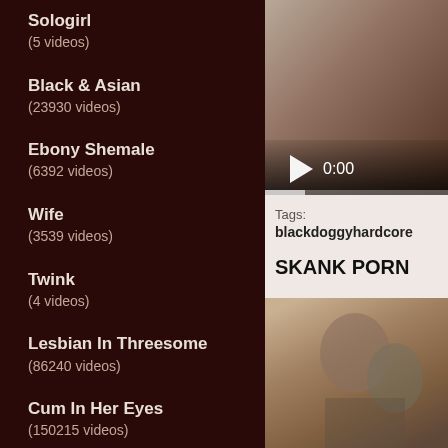Sologirl
(5 videos)
Black & Asian
(23930 videos)
Ebony Shemale
(6392 videos)
Wife
(3539 videos)
Twink
(4 videos)
Lesbian In Threesome
(86240 videos)
Cum In Her Eyes
(150215 videos)
Creampie In Gangbang
(74753 videos)
[Figure (screenshot): Video thumbnail with play button and 0:00 timestamp]
Tags: blackdoggyhardcore
SKANK PORN
[Figure (photo): Second video thumbnail]